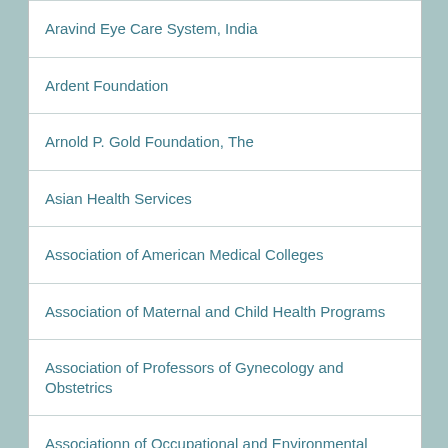Aravind Eye Care System, India
Ardent Foundation
Arnold P. Gold Foundation, The
Asian Health Services
Association of American Medical Colleges
Association of Maternal and Child Health Programs
Association of Professors of Gynecology and Obstetrics
Associationn of Occupational and Environmental Clinics
Astellas Pharma, Inc.